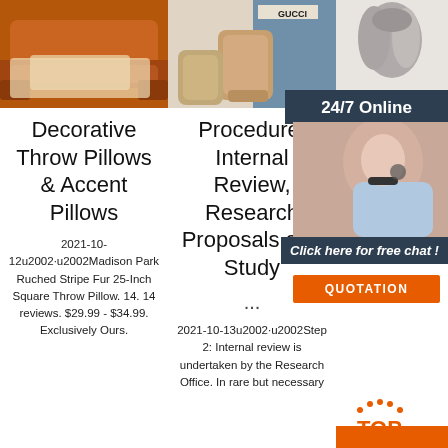[Figure (photo): Brown leather sofa with cream/white throw blanket]
[Figure (photo): UGG boots and Gucci items display]
[Figure (photo): Gray fur/sheepskin rug]
24/7 Online
[Figure (photo): Customer service agent woman with headset smiling]
Click here for free chat !
QUOTATION
Decorative Throw Pillows & Accent Pillows
Procedure: Internal Review, Research Proposals and Study
e:
2021-10-12u2002·u2002Madison Park Ruched Stripe Fur 25-Inch Square Throw Pillow. 14. 14 reviews. $29.99 - $34.99. Exclusively Ours.
...
Learn ju everyth Find e along v videos in instructions on how to make, cook, grow, or do almost anything.
2021-10-13u2002·u2002Step 2: Internal review is undertaken by the Research Office. In rare but necessary